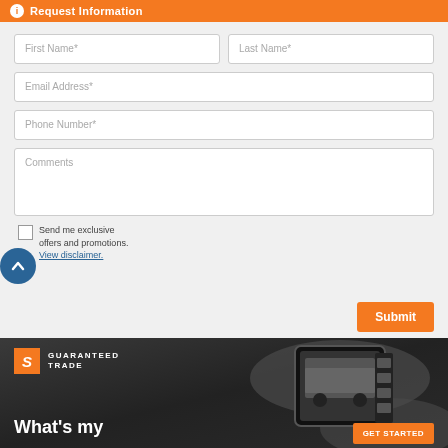Request Information
First Name*
Last Name*
Email Address*
Phone Number*
Comments
Send me exclusive offers and promotions. View disclaimer.
Submit
[Figure (screenshot): Guaranteed Trade promotional banner showing hands holding a smartphone displaying a truck, with logo and 'What's my' headline text and 'GET STARTED' button]